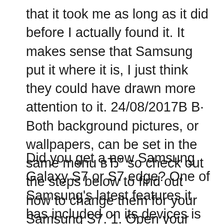that it took me as long as it did before I actually found it. It makes sense that Samsung put it where it is, I just think they could have drawn more attention to it. 24/08/2017В В· Both background pictures, or wallpapers, can be set in the same menu вЂ" so check out the steps below to find out how to change them for your Samsung S7. 1. Open your apps list and tap on the Settings icon. 2. Scroll down the Settings list and choose Wallpaper. 3. In the top
Did you get a new Samsung Galaxy S7 or S7 edge? One of Samsung's latest features it has included on its devices is the ability to personalize the look of your icons, wallpaper, sounds, and colors Thankfully, we have the